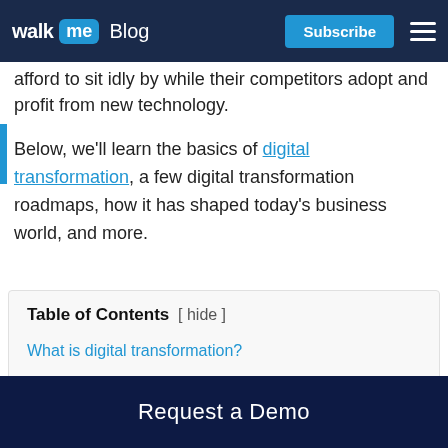WalkMe Blog | Subscribe | [menu]
afford to sit idly by while their competitors adopt and profit from new technology.
Below, we'll learn the basics of digital transformation, a few digital transformation roadmaps, how it has shaped today's business world, and more.
| Table of Contents |
| --- |
| What is digital transformation? |
| Mapping out the digital transformation |
Request a Demo